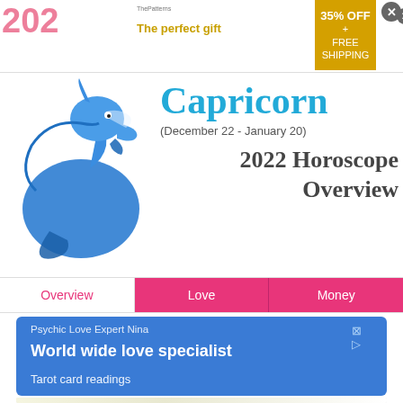[Figure (screenshot): Advertisement banner with '202' year text in pink, 'The perfect gift' ad with food imagery, navigation arrows, and '35% OFF + FREE SHIPPING' gold box]
[Figure (illustration): Capricorn zodiac symbol - blue stylized sea-goat illustration]
Capricorn
(December 22 - January 20)
2022 Horoscope Overview
[Figure (screenshot): Navigation tabs: Overview (pink text), Love (white on pink), Money (white on pink)]
[Figure (screenshot): Advertisement card: Psychic Love Expert Nina - World wide love specialist - Tarot card readings (blue background)]
[Figure (screenshot): Map showing street view with location pin]